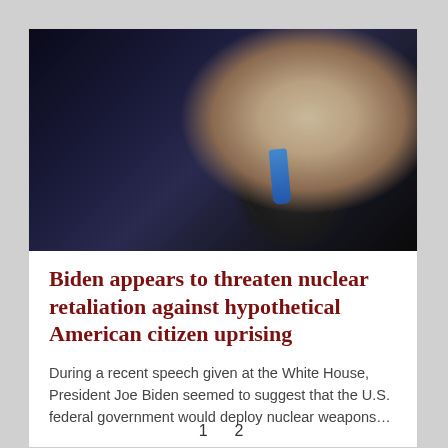[Figure (photo): A man in a dark suit with a blue tie holding a microphone, photographed in side profile against a dark background — appears to be at a debate or speech podium.]
Biden appears to threaten nuclear retaliation against hypothetical American citizen uprising
During a recent speech given at the White House, President Joe Biden seemed to suggest that the U.S. federal government would deploy nuclear weapons…
1  2